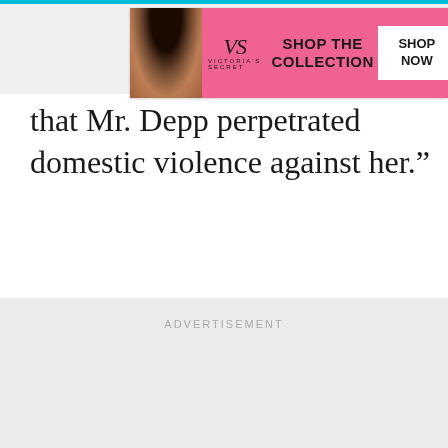[Figure (other): Victoria's Secret advertisement banner with model, logo, 'SHOP THE COLLECTION' text and 'SHOP NOW' button on pink background]
that Mr. Depp perpetrated domestic violence against her.”
ADVERTISEMENT